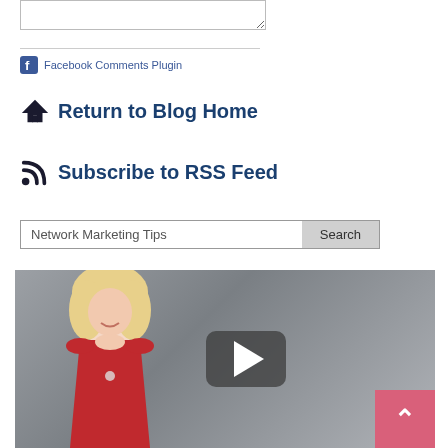[Figure (screenshot): Resizable textarea input box at the top of the page]
Facebook Comments Plugin
Return to Blog Home
Subscribe to RSS Feed
Network Marketing Tips  Search
[Figure (photo): Blonde woman in red dress on grey background with a video play button overlay and a pink back-to-top arrow button in the bottom right corner]